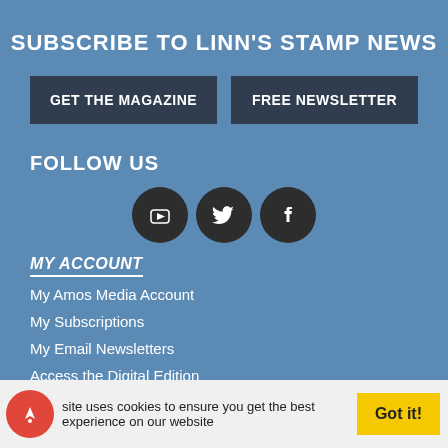SUBSCRIBE TO LINN'S STAMP NEWS
GET THE MAGAZINE
FREE NEWSLETTER
FOLLOW US
[Figure (other): Social media icons: YouTube, Twitter, Facebook as dark circular buttons]
MY ACCOUNT
My Amos Media Account
My Subscriptions
My Email Newsletters
Access the Digital Edition
NEWS AND VIEWS
site uses cookies to ensure you get the best experience on our website
Got it!